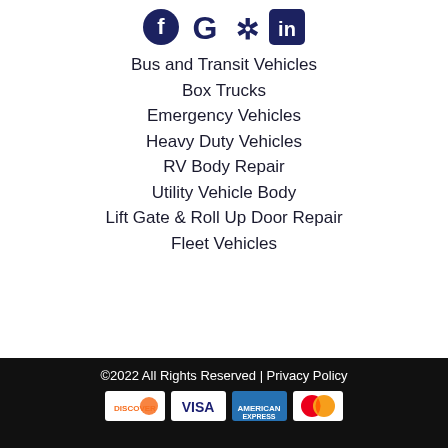[Figure (logo): Social media icons: Facebook, Google, Yelp, LinkedIn]
Bus and Transit Vehicles
Box Trucks
Emergency Vehicles
Heavy Duty Vehicles
RV Body Repair
Utility Vehicle Body
Lift Gate & Roll Up Door Repair
Fleet Vehicles
©2022 All Rights Reserved | Privacy Policy
[Figure (logo): Payment method logos: Discover, Visa, American Express, Mastercard]